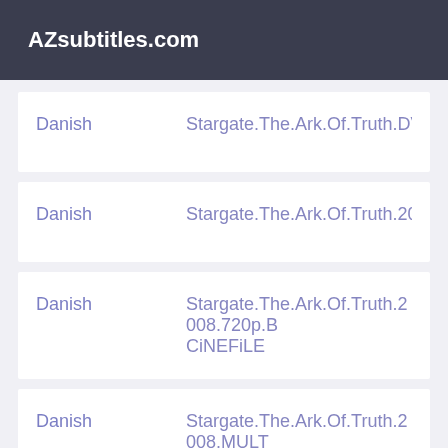AZsubtitles.com
| Language | Title |
| --- | --- |
| Danish | Stargate.The.Ark.Of.Truth.DVDRip.Xvi |
| Danish | Stargate.The.Ark.Of.Truth.2008.1080p |
| Danish | Stargate.The.Ark.Of.Truth.2008.720p.B CiNEFiLE |
| Danish | Stargate.The.Ark.Of.Truth.2008.MULT FRAY |
| Danish | Stargate.The.Ark.Of.Truth.2008.Prop |